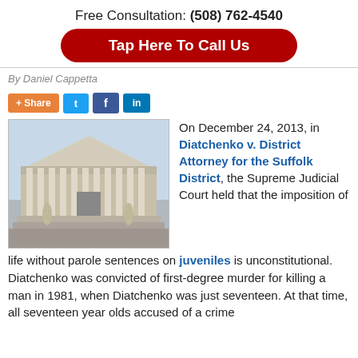Free Consultation: (508) 762-4540
Tap Here To Call Us
By Daniel Cappetta
[Figure (other): Social share buttons: +Share, Twitter, Facebook, LinkedIn]
[Figure (photo): Photo of the United States Supreme Court building with classical columns and steps]
On December 24, 2013, in Diatchenko v. District Attorney for the Suffolk District, the Supreme Judicial Court held that the imposition of life without parole sentences on juveniles is unconstitutional. Diatchenko was convicted of first-degree murder for killing a man in 1981, when Diatchenko was just seventeen. At that time, all seventeen year olds accused of a crime